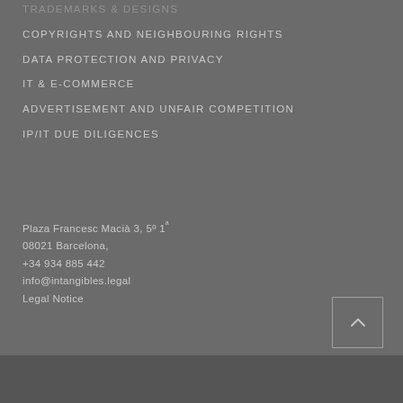TRADEMARKS & DESIGNS
COPYRIGHTS AND NEIGHBOURING RIGHTS
DATA PROTECTION AND PRIVACY
IT & E-COMMERCE
ADVERTISEMENT AND UNFAIR COMPETITION
IP/IT DUE DILIGENCES
Plaza Francesc Macià 3, 5º 1ª
08021 Barcelona,
+34 934 885 442
info@intangibles.legal
Legal Notice
[Figure (other): Back to top button with upward chevron arrow inside a square border]